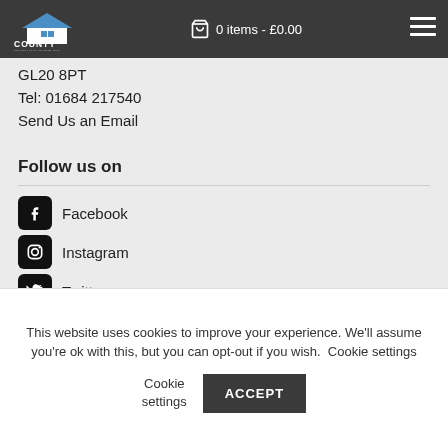County Detailing Supplies — 0 items - £0.00
GL20 8PT
Tel: 01684 217540
Send Us an Email
Follow us on
Facebook
Instagram
Twitter
YouTube
This website uses cookies to improve your experience. We'll assume you're ok with this, but you can opt-out if you wish. Cookie settings  ACCEPT